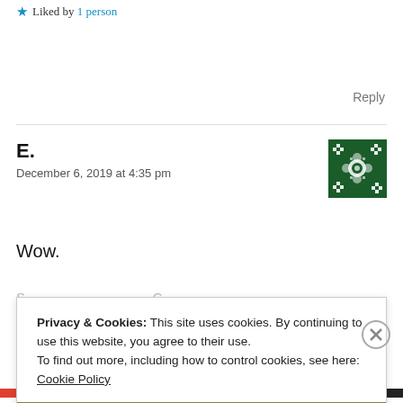★ Liked by 1 person
Reply
E.
December 6, 2019 at 4:35 pm
[Figure (illustration): Green and dark decorative avatar/QR-code pattern icon]
Wow.
Privacy & Cookies: This site uses cookies. By continuing to use this website, you agree to their use.
To find out more, including how to control cookies, see here:
Cookie Policy
Close and accept